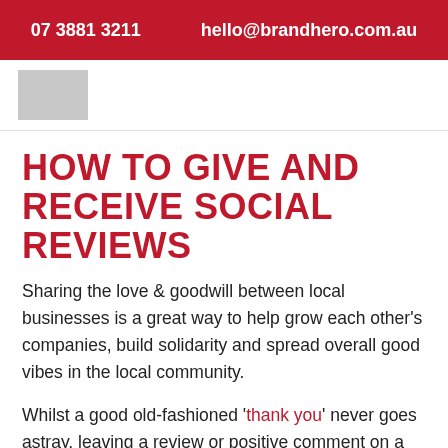07 3881 3211    hello@brandhero.com.au
[Figure (logo): Brand Hero logo placeholder (grey rectangle)]
HOW TO GIVE AND RECEIVE SOCIAL REVIEWS
Sharing the love & goodwill between local businesses is a great way to help grow each other's companies, build solidarity and spread overall good vibes in the local community.
Whilst a good old-fashioned 'thank you' never goes astray, leaving a review or positive comment on a business' social media can make a genuine